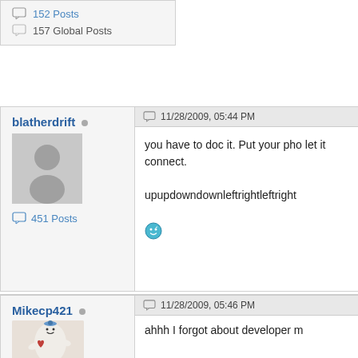152 Posts
157 Global Posts
blatherdrift
11/28/2009, 05:44 PM
you have to doc it. Put your pho let it connect.
upupdowndownleftrightleftright
Mikecp421
11/28/2009, 05:46 PM
ahhh I forgot about developer m
heres error I get